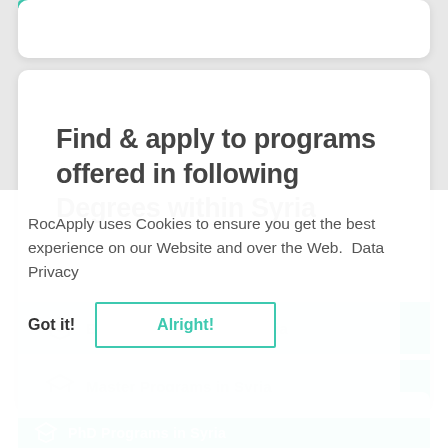Find & apply to programs offered in following Degrees within Syria
Bachelor Programs in Syria
RocApply uses Cookies to ensure you get the best experience on our Website and over the Web.  Data Privacy
Got it!
Alright!
Master Programs in Syria
PhD Programs in Syria